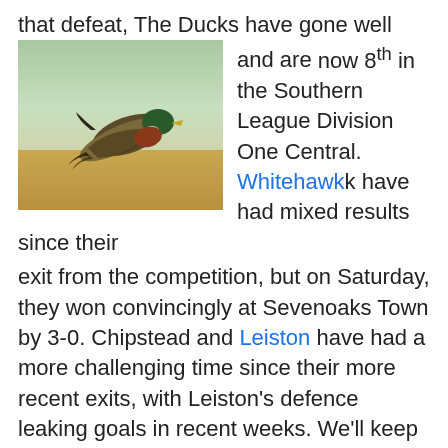that defeat, The Ducks have gone well and are now 8th in the Southern League Division One Central. Whitehawk have had mixed results since their exit from the competition, but on Saturday, they won convincingly at Sevenoaks Town by 3-0. Chipstead and Leiston have had a more challenging time since their more recent exits, with Leiston's defence leaking goals in recent weeks. We'll keep following these teams as the season progresses.
[Figure (photo): A mallard duck in flight over a field]
Meat and drink
The meats in football teams produced a spurt of